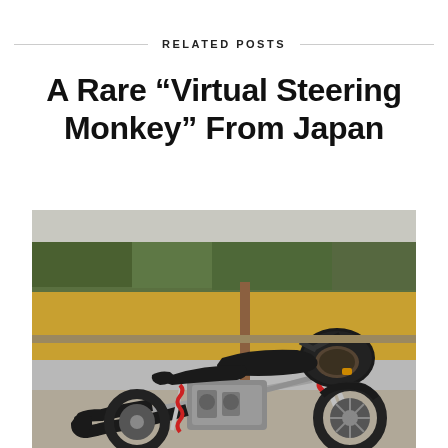RELATED POSTS
A Rare “Virtual Steering Monkey” From Japan
[Figure (photo): A custom modified motorcycle with black bodywork, red shock absorbers, a large front fairing, dual exhaust pipes, photographed outdoors in front of a field of golden crops with a wooden post visible in the background.]